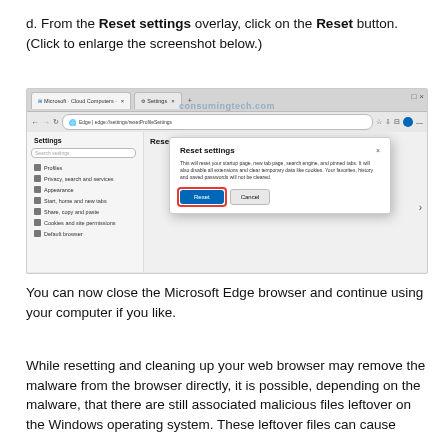d. From the Reset settings overlay, click on the Reset button. (Click to enlarge the screenshot below.)
[Figure (screenshot): Screenshot of Microsoft Edge browser showing the Settings page with a 'Reset settings' modal dialog open. The dialog contains text about what will be reset and has a highlighted Reset button (outlined in red) and a Cancel button. The watermark 'consumingtech.com' appears in the browser window.]
You can now close the Microsoft Edge browser and continue using your computer if you like.
While resetting and cleaning up your web browser may remove the malware from the browser directly, it is possible, depending on the malware, that there are still associated malicious files leftover on the Windows operating system. These leftover files can cause